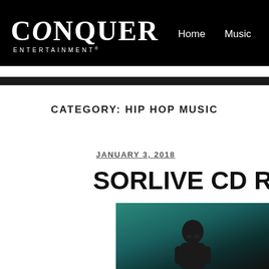CONQUER ENTERTAINMENT | Home  Music  Industry
CATEGORY: HIP HOP MUSIC
JANUARY 3, 2018
SORLIVE CD Rele
[Figure (photo): Person photographed against a dark teal/green gradient background, partially visible at the bottom of the page]